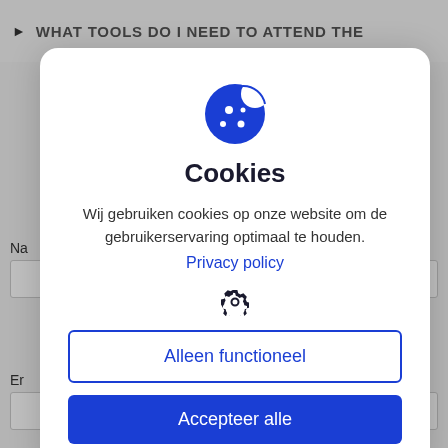WHAT TOOLS DO I NEED TO ATTEND THE
[Figure (screenshot): Cookie consent modal dialog overlaying a webpage. Contains a cookie icon, title 'Cookies', descriptive text in Dutch, a Privacy policy link, a settings gear icon, and two buttons: 'Alleen functioneel' (outlined) and 'Accepteer alle' (filled blue).]
Cookies
Wij gebruiken cookies op onze website om de gebruikerservaring optimaal te houden.
Privacy policy
Alleen functioneel
Accepteer alle